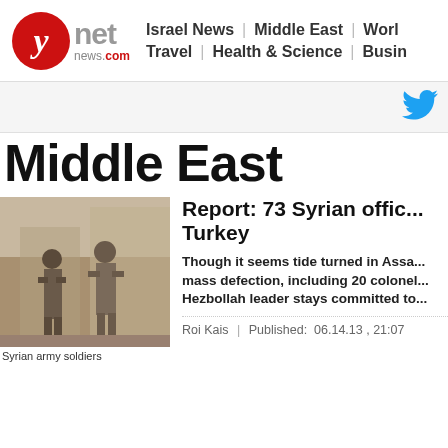ynetnews.com | Israel News | Middle East | World | Travel | Health & Science | Business
[Figure (logo): Ynet news logo with red circle containing white Y, grey 'net' text, and news.com below]
[Figure (illustration): Twitter bird icon in blue]
Middle East
[Figure (photo): Syrian army soldiers walking in military gear]
Syrian army soldiers
Report: 73 Syrian offic... Turkey
Though it seems tide turned in Assa... mass defection, including 20 colonel... Hezbollah leader stays committed to...
Roi Kais | Published: 06.14.13 , 21:07